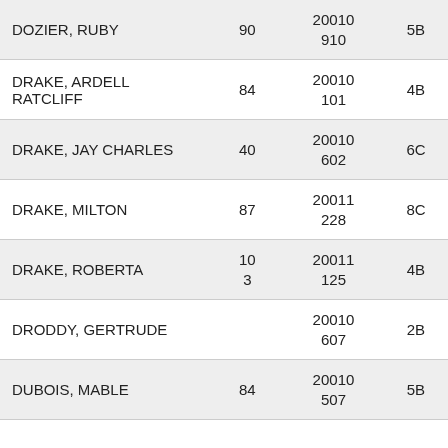| Name | Age | Record | Code |
| --- | --- | --- | --- |
| DOZIER, RUBY | 90 | 20010 910 | 5B |
| DRAKE, ARDELL RATCLIFF | 84 | 20010 101 | 4B |
| DRAKE, JAY CHARLES | 40 | 20010 602 | 6C |
| DRAKE, MILTON | 87 | 20011 228 | 8C |
| DRAKE, ROBERTA | 10 3 | 20011 125 | 4B |
| DRODDY, GERTRUDE |  | 20010 607 | 2B |
| DUBOIS, MABLE | 84 | 20010 507 | 5B |